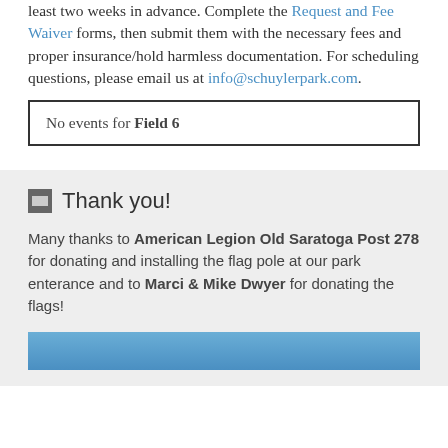least two weeks in advance. Complete the Request and Fee Waiver forms, then submit them with the necessary fees and proper insurance/hold harmless documentation. For scheduling questions, please email us at info@schuylerpark.com.
No events for Field 6
Thank you!
Many thanks to American Legion Old Saratoga Post 278 for donating and installing the flag pole at our park enterance and to Marci & Mike Dwyer for donating the flags!
[Figure (photo): Blue image strip at the bottom, partially visible photograph]